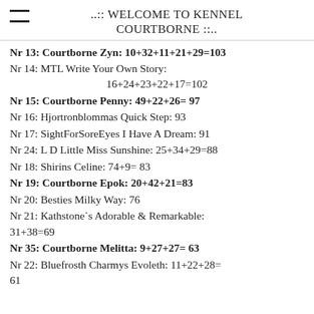..:: WELCOME TO KENNEL COURTBORNE ::..
Nr 13: Courtborne Zyn: 10+32+11+21+29=103
Nr 14: MTL Write Your Own Story: 16+24+23+22+17=102
Nr 15: Courtborne Penny: 49+22+26= 97
Nr 16: Hjortronblommas Quick Step: 93
Nr 17: SightForSoreEyes I Have A Dream: 91
Nr 24: L D Little Miss Sunshine: 25+34+29=88
Nr 18: Shirins Celine: 74+9= 83
Nr 19: Courtborne Epok: 20+42+21=83
Nr 20: Besties Milky Way: 76
Nr 21: Kathstone`s Adorable & Remarkable: 31+38=69
Nr 35: Courtborne Melitta: 9+27+27= 63
Nr 22: Bluefrosth Charmys Evoleth: 11+22+28= 61